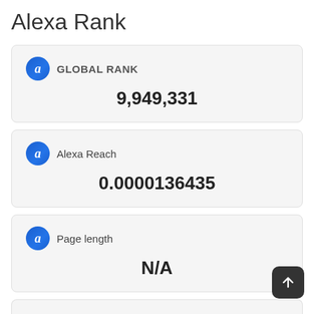Alexa Rank
GLOBAL RANK
9,949,331
Alexa Reach
0.0000136435
Page length
N/A